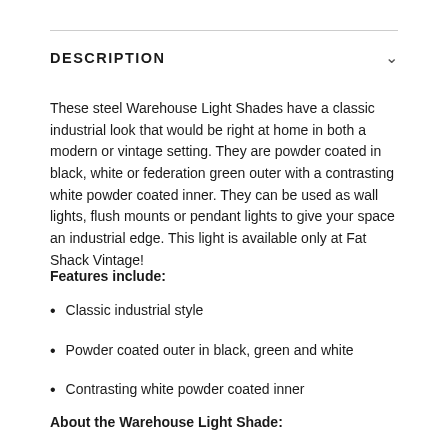DESCRIPTION
These steel Warehouse Light Shades have a classic industrial look that would be right at home in both a modern or vintage setting. They are powder coated in black, white or federation green outer with a contrasting white powder coated inner. They can be used as wall lights, flush mounts or pendant lights to give your space an industrial edge. This light is available only at Fat Shack Vintage!
Features include:
Classic industrial style
Powder coated outer in black, green and white
Contrasting white powder coated inner
About the Warehouse Light Shade: